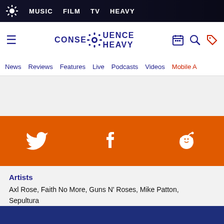MUSIC  FILM  TV  HEAVY
[Figure (logo): Consequence Heavy logo with gear icon and site name]
News  Reviews  Features  Live  Podcasts  Videos  Mobile A
[Figure (infographic): Orange social sharing bar with Twitter, Facebook, and Reddit icons]
Artists
Axl Rose, Faith No More, Guns N' Roses, Mike Patton, Sepultura
More on this topic
Alternative Metal, Band Feud, Heavy Metal